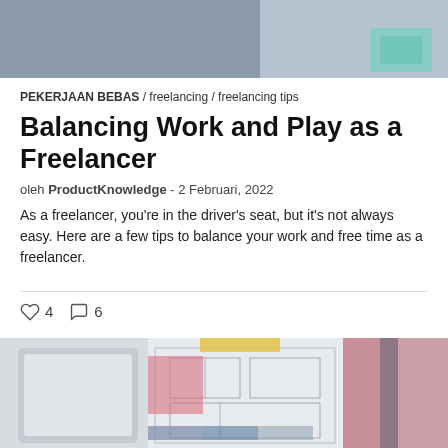[Figure (photo): Top portion of a photo showing a person working, likely a freelancer, with teal/green object visible at right]
PEKERJAAN BEBAS / freelancing / freelancing tips
Balancing Work and Play as a Freelancer
oleh ProductKnowledge - 2 Februari, 2022
As a freelancer, you're in the driver's seat, but it's not always easy. Here are a few tips to balance your work and free time as a freelancer.
♡ 4   💬 6
[Figure (photo): Bottom portion showing architectural blueprint/floor plan with color swatches (pink, gray, blue) and a tablet device on the left]